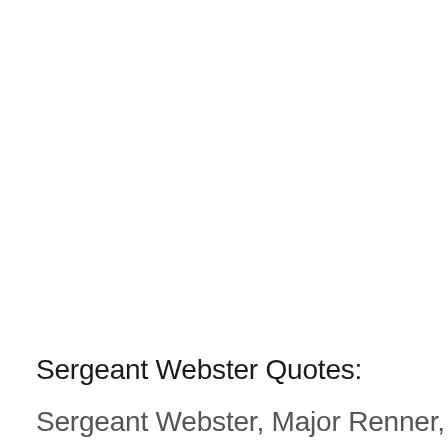Sergeant Webster Quotes:
Sergeant Webster, Major Renner, and ...